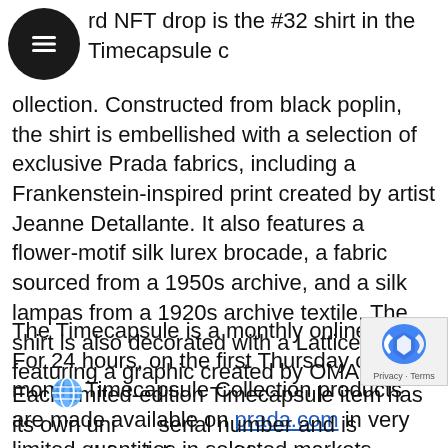[Figure (logo): Black circular hamburger menu icon]
rd NFT drop is the #32 shirt in the Timecapsule collection. Constructed from black poplin, the shirt is embellished with a selection of exclusive Prada fabrics, including a Frankenstein-inspired print created by artist Jeanne Detallante. It also features a flower-motif silk lurex brocade, a fabric sourced from a 1950s archive, and a silk lampas from a 1920s archive textile. The shirt is also decorated with a Lattice Badge featuring a graphic created by OMA studio.
The Timecapsule is a monthly online event. For 24 hours, on the first Thursday of every month, Timecapsule Collection products are made available on prada.com in very limited quantities in selected markets.
Each limited-edition Timecapsule item has its own unique serial number and is prepared for delivery with custom packaging. As such, Prada maintains harmony between the
[Figure (logo): Google reCAPTCHA badge with Privacy and Terms links]